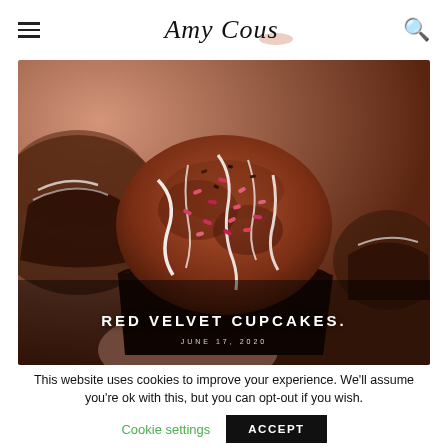Amy Cous
[Figure (photo): Close-up photo of red velvet cupcakes with white icing drizzle and pink sprinkles, held in a hand with a dark cupcake wrapper, other cupcakes blurred in background. Overlay text reads RED VELVET CUPCAKES. and JUNE 17, 2020.]
This website uses cookies to improve your experience. We'll assume you're ok with this, but you can opt-out if you wish.
Cookie settings  ACCEPT